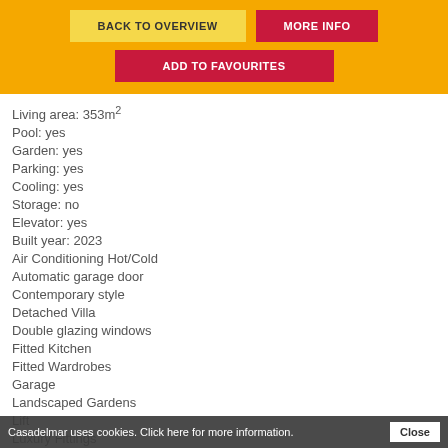BACK TO OVERVIEW | MORE INFO | ADD TO FAVOURITES
Living area: 353m²
Pool: yes
Garden: yes
Parking: yes
Cooling: yes
Storage: no
Elevator: yes
Built year: 2023
Air Conditioning Hot/Cold
Automatic garage door
Contemporary style
Detached Villa
Double glazing windows
Fitted Kitchen
Fitted Wardrobes
Garage
Landscaped Gardens
Lift
Luxury Fittings
Casadelmar uses cookies. Click here for more information. Close